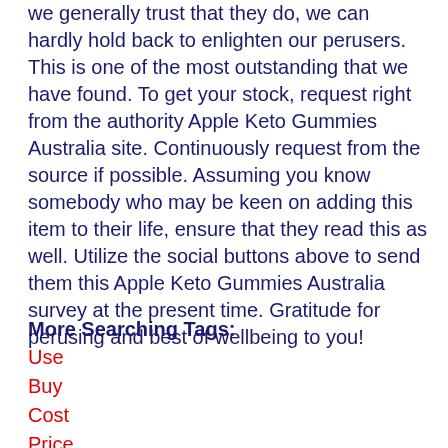we generally trust that they do, we can hardly hold back to enlighten our perusers. This is one of the most outstanding that we have found. To get your stock, request right from the authority Apple Keto Gummies Australia site. Continuously request from the source if possible. Assuming you know somebody who may be keen on adding this item to their life, ensure that they read this as well. Utilize the social buttons above to send them this Apple Keto Gummies Australia survey at the present time. Gratitude for perusing and best of wellbeing to you!
More Searching Tags:
Use
Buy
Cost
Price
Scam
Work